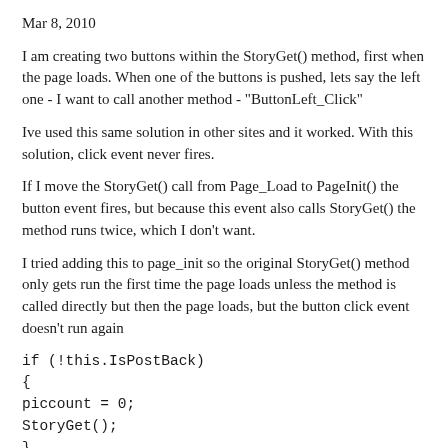Mar 8, 2010
I am creating two buttons within the StoryGet() method, first when the page loads. When one of the buttons is pushed, lets say the left one - I want to call another method - "ButtonLeft_Click"
Ive used this same solution in other sites and it worked. With this solution, click event never fires.
If I move the StoryGet() call from Page_Load to PageInit() the button event fires, but because this event also calls StoryGet() the method runs twice, which I don't want.
I tried adding this to page_init so the original StoryGet() method only gets run the first time the page loads unless the method is called directly but then the page loads, but the button click event doesn't run again
[Code]....